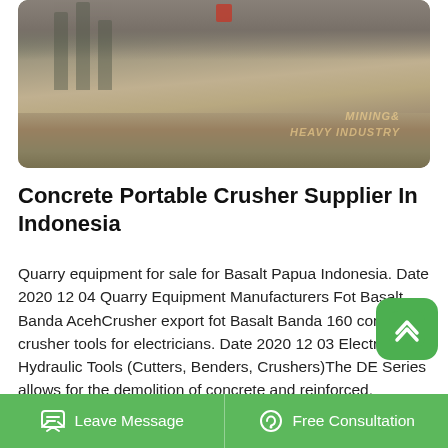[Figure (photo): Quarry/construction site with crushed stone and gravel piles, concrete pillars visible in background, watermark text overlay]
Concrete Portable Crusher Supplier In Indonesia
Quarry equipment for sale for Basalt Papua Indonesia. Date 2020 12 04 Quarry Equipment Manufacturers Fot Basalt Banda AcehCrusher export fot Basalt Banda 160 concrete crusher tools for electricians. Date 2020 12 03 Electric Hydraulic Tools (Cutters, Benders, Crushers)The DE Series allows for the demolition of concrete and reinforced.
Quarry Crusher For Sale Cullinan, Northern Region
Leave Message   Free Consultation